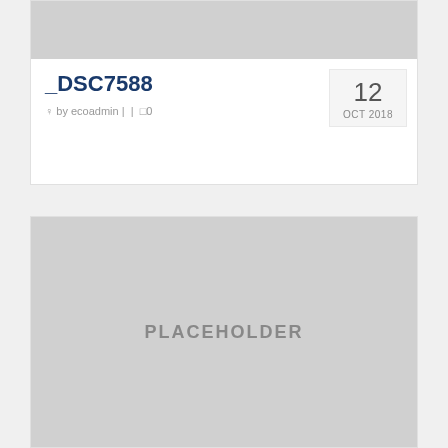[Figure (photo): Gray placeholder image at top of first card]
_DSC7588
by ecoadmin |  |  0
[Figure (photo): Large gray placeholder image labeled PLACEHOLDER in second card]